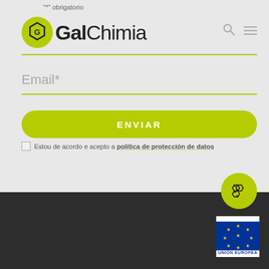"*" obrigatorio
[Figure (logo): GalChimia logo: green hexagon icon with letter G and 'GalChimia' text]
Email*
ENVIAR
Estou de acordo e acepto a política de protección de datos
[Figure (illustration): GalChimia molecule badge: green circle with chemical structure (benzene-like rings)]
[Figure (logo): Unión Europea logo: EU flag with stars and text UNIÓN EUROPEA]